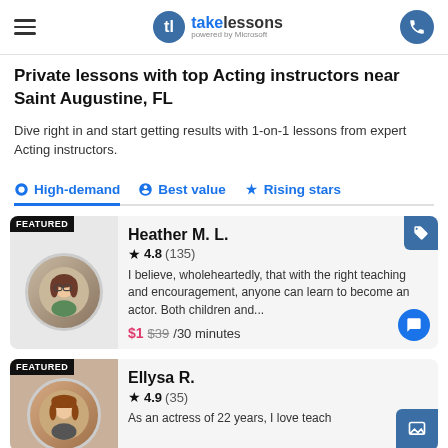takelessons powered by Microsoft
Private lessons with top Acting instructors near Saint Augustine, FL
Dive right in and start getting results with 1-on-1 lessons from expert Acting instructors.
High-demand
Best value
Rising stars
FEATURED
Heather M. L.
★4.8(135)
I believe, wholeheartedly, that with the right teaching and encouragement, anyone can learn to become an actor. Both children and...
$1 $39/30 minutes
FEATURED
Ellysa R.
★4.9(35)
As an actress of 22 years, I love teach